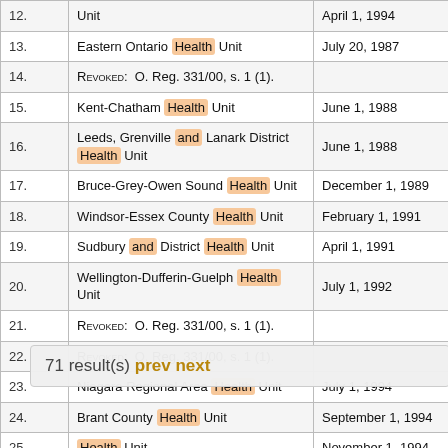| # | Name | Date |
| --- | --- | --- |
| 12. | [Health] Unit | April 1, 1994 |
| 13. | Eastern Ontario Health Unit | July 20, 1987 |
| 14. | REVOKED: O. Reg. 331/00, s. 1 (1). |  |
| 15. | Kent-Chatham Health Unit | June 1, 1988 |
| 16. | Leeds, Grenville and Lanark District Health Unit | June 1, 1988 |
| 17. | Bruce-Grey-Owen Sound Health Unit | December 1, 1989 |
| 18. | Windsor-Essex County Health Unit | February 1, 1991 |
| 19. | Sudbury and District Health Unit | April 1, 1991 |
| 20. | Wellington-Dufferin-Guelph Health Unit | July 1, 1992 |
| 21. | REVOKED: O. Reg. 331/00, s. 1 (1). |  |
| 22. | REVOKED: O. Reg. 331/00, s. 1 (1). |  |
| 23. | Niagara Regional Area Health Unit | July 1, 1994 |
| 24. | Brant County Health Unit | September 1, 1994 |
| 25. | [Health] Unit | November 1, 1994 |
| 26. | Halton Regional Health Unit | January 1, 1995 |